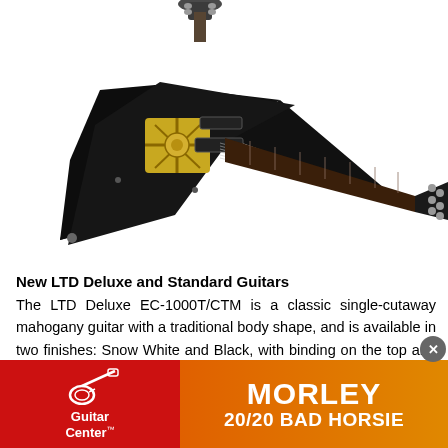[Figure (photo): Black V-shaped electric guitar (LTD/ESP style) with gold hardware and decorative inlay on the body, shown at an angle against a white background. A partial view of another guitar is visible at the top.]
New LTD Deluxe and Standard Guitars
The LTD Deluxe EC-1000T/CTM is a classic single-cutaway mahogany guitar with a traditional body shape, and is available in two finishes: Snow White and Black, with binding on the top and back of the body. Also, after many customer resquests, ESP offers two new H-Series models, the LT — string 007FR also in
[Figure (logo): Guitar Center advertisement banner with red background showing Guitar Center logo with guitar icon and text 'Guitar Center']
[Figure (infographic): Morley 20/20 Bad Horsie advertisement banner with orange gradient background and white bold text reading 'MORLEY 20/20 BAD HORSIE']